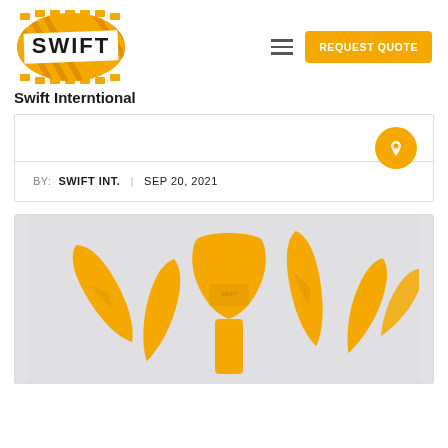[Figure (logo): Swift International logo — gear/cog shaped yellow emblem with SWIFT text in bold black letters and diagonal yellow stripes]
REQUEST QUOTE
Swift Interntional
BY: SWIFT INT. | SEP 20, 2021
[Figure (photo): Yellow excavator bucket teeth / ground engaging tools on a light gray background — various tooth shapes including flat, tapered and pointed types]